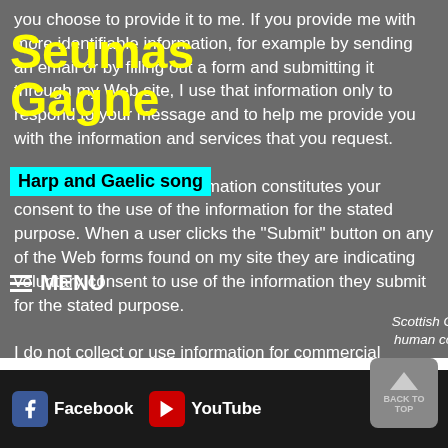Seumas Gagne
Harp and Gaelic song
you choose to provide it to me. If you provide me with more identifiable information, for example by sending an email or by filling out a form and submitting it through my Web site, I use that information only to respond to your message and to help me provide you with the information and services that you request.
Submitting voluntary information constitutes your consent to the use of the information for the stated purpose. When a user clicks the "Submit" button on any of the Web forms found on my site they are indicating voluntary consent to use of the information they submit for the stated purpose.
I do not collect or use information for commercial marketing.
[Figure (infographic): Italic overlay text: Scottish Gaelic song literature explores the human condition in a way that anyone can understand with a guide]
Facebook  YouTube  BACK TO TOP